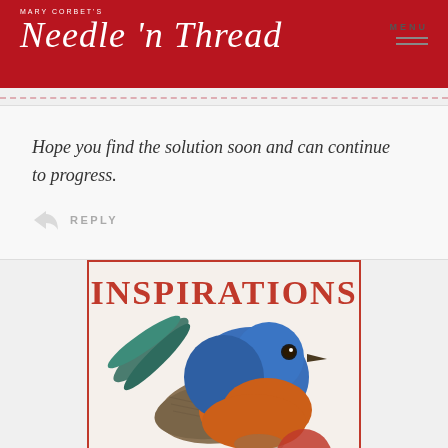[Figure (logo): Mary Corbet's Needle n Thread logo in white script on red background with menu icon]
Hope you find the solution soon and can continue to progress.
REPLY
MORE COMMENTS
[Figure (photo): Inspirations magazine cover showing a bluebird with orange breast and the word INSPIRATIONS in red serif font]